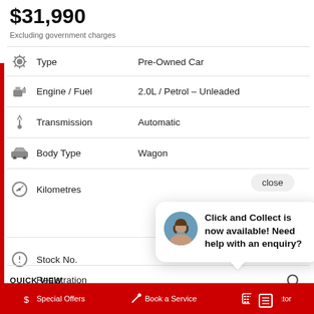$31,990
Excluding government charges
| Feature | Value |
| --- | --- |
| Type | Pre-Owned Car |
| Engine / Fuel | 2.0L / Petrol – Unleaded |
| Transmission | Automatic |
| Body Type | Wagon |
| Kilometres |  |
| Stock No. |  |
| Registration |  |
close
Click and Collect is now available! Need help with an enquiry?
QUICK VIEW
ADD TO COMPARE
Special Offers   Book a Service   Calculator